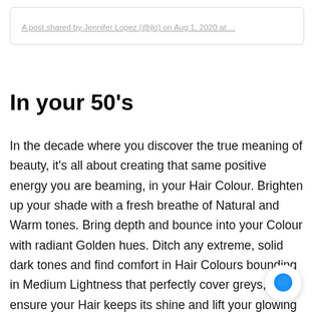A post shared by Jennifer Lopez (@jlo) on Aug 1, 2020 at ...
In your 50's
In the decade where you discover the true meaning of beauty, it's all about creating that same positive energy you are beaming, in your Hair Colour. Brighten up your shade with a fresh breathe of Natural and Warm tones. Bring depth and bounce into your Colour with radiant Golden hues. Ditch any extreme, solid dark tones and find comfort in Hair Colours bounding in Medium Lightness that perfectly cover greys, ensure your Hair keeps its shine and lift your glowing complexion.